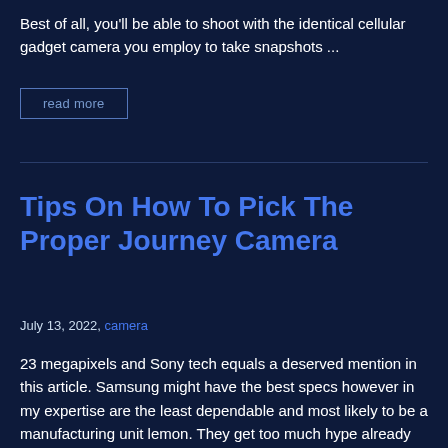Best of all, you'll be able to shoot with the identical cellular gadget camera you employ to take snapshots ...
read more
Tips On How To Pick The Proper Journey Camera
July 13, 2022, camera
23 megapixels and Sony tech equals a deserved mention in this article. Samsung might have the best specs however in my expertise are the least dependable and most likely to be a manufacturing unit lemon. They get too much hype already so